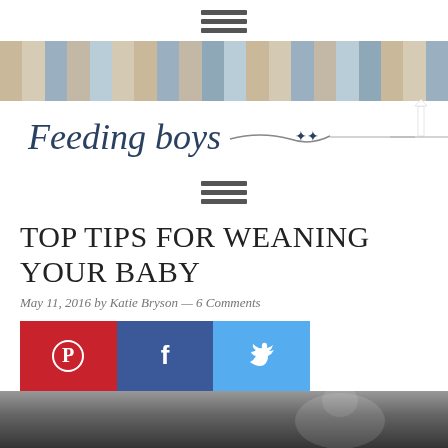[Figure (logo): Hamburger/menu icon (three horizontal bars) at top center]
[Figure (logo): Feeding boys blog banner with wood-plank striped background and cursive logo text 'Feeding boys' with silhouette illustration]
[Figure (logo): Second hamburger/menu icon (three horizontal bars) below banner]
TOP TIPS FOR WEANING YOUR BABY
May 11, 2016 by Katie Bryson — 6 Comments
[Figure (infographic): Social sharing buttons row: Pinterest (red, P icon), Facebook (dark blue, f icon), Twitter (light blue, bird icon)]
[Figure (photo): Black and white photo at bottom of page, partially visible — appears to show a child or baby]